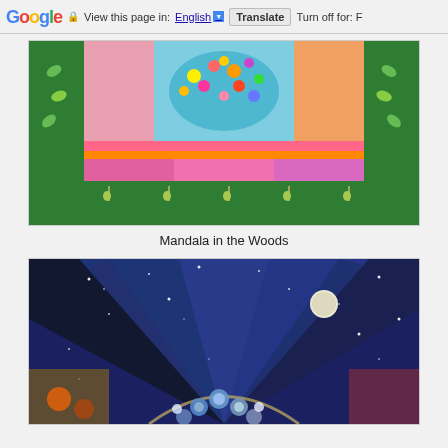Google | View this page in: English [▼] | Translate | Turn off for: F
[Figure (photo): A colorful art quilt titled 'Mandala in the Woods' featuring a vibrant central panel with floral arrangement in a vase, surrounded by geometric patchwork panels in pinks, oranges, and purples, with a green leaf and wheat border.]
Mandala in the Woods
[Figure (photo): A second art quilt depicting a night sky scene with deep blue tones, sparkling stars, a moon, and decorative flowers arranged in an arc at the bottom center, with colorful geometric patchwork segments radiating outward.]